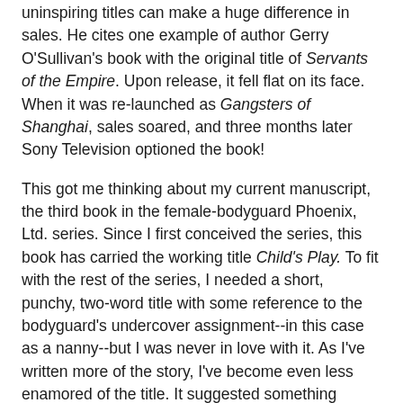uninspiring titles can make a huge difference in sales. He cites one example of author Gerry O'Sullivan's book with the original title of Servants of the Empire. Upon release, it fell flat on its face. When it was re-launched as Gangsters of Shanghai, sales soared, and three months later Sony Television optioned the book!
This got me thinking about my current manuscript, the third book in the female-bodyguard Phoenix, Ltd. series. Since I first conceived the series, this book has carried the working title Child's Play. To fit with the rest of the series, I needed a short, punchy, two-word title with some reference to the bodyguard's undercover assignment--in this case as a nanny--but I was never in love with it. As I've written more of the story, I've become even less enamored of the title. It suggested something simple, and that doesn't fit my characters or the plot.
However, I still needed a title that fit the established parameters of the series. After reading this article, I put on my thinking cap and came up with something I like much better. Problem Child. Right off the bat, the new title